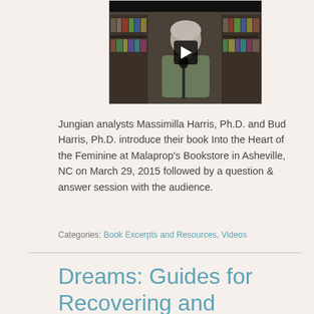[Figure (screenshot): Video thumbnail showing a person with gray hair speaking into a microphone in front of bookshelves, with a play button overlay. Top bar reads 'Into The Heart of the Feminine'.]
Jungian analysts Massimilla Harris, Ph.D. and Bud Harris, Ph.D. introduce their book Into the Heart of the Feminine at Malaprop's Bookstore in Asheville, NC on March 29, 2015 followed by a question & answer session with the audience.
Categories: Book Excerpts and Resources, Videos
Dreams: Guides for Recovering and Recreating Ourselves